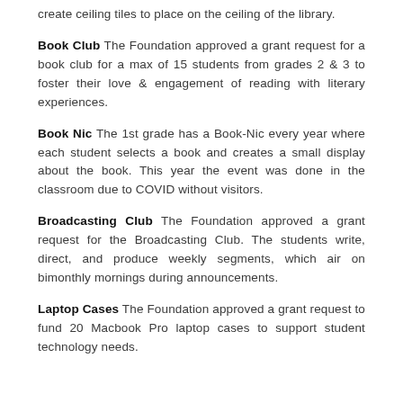create ceiling tiles to place on the ceiling of the library.
Book Club The Foundation approved a grant request for a book club for a max of 15 students from grades 2 & 3 to foster their love & engagement of reading with literary experiences.
Book Nic The 1st grade has a Book-Nic every year where each student selects a book and creates a small display about the book. This year the event was done in the classroom due to COVID without visitors.
Broadcasting Club The Foundation approved a grant request for the Broadcasting Club. The students write, direct, and produce weekly segments, which air on bimonthly mornings during announcements.
Laptop Cases The Foundation approved a grant request to fund 20 Macbook Pro laptop cases to support student technology needs.